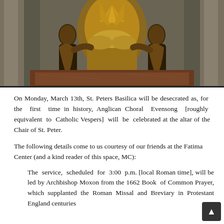[Figure (photo): Photograph of ornate golden baroque sculptures at the altar of the Chair of St. Peter in St. Peter's Basilica. Large gilded figures flank a central throne-like structure with clouds and rays, set against grey stone columns.]
On Monday, March 13th, St. Peters Basilica will be desecrated as, for the first time in history, Anglican Choral Evensong [roughly equivalent to Catholic Vespers] will be celebrated at the altar of the Chair of St. Peter.
The following details come to us courtesy of our friends at the Fatima Center (and a kind reader of this space, MC):
The service, scheduled for 3:00 p.m. [local Roman time], will be led by Archbishop Moxon from the 1662 Book of Common Prayer, which supplanted the Roman Missal and Breviary in Protestant England centuries